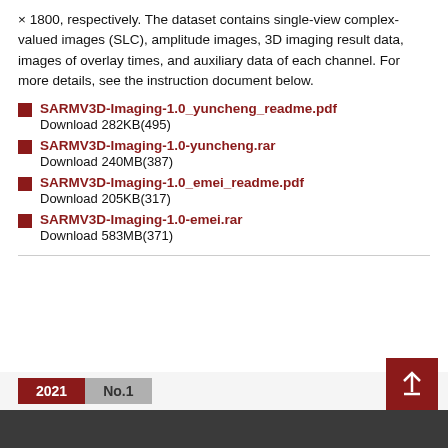× 1800, respectively. The dataset contains single-view complex-valued images (SLC), amplitude images, 3D imaging result data, images of overlay times, and auxiliary data of each channel. For more details, see the instruction document below.
SARMV3D-Imaging-1.0_yuncheng_readme.pdf
Download 282KB(495)
SARMV3D-Imaging-1.0-yuncheng.rar
Download 240MB(387)
SARMV3D-Imaging-1.0_emei_readme.pdf
Download 205KB(317)
SARMV3D-Imaging-1.0-emei.rar
Download 583MB(371)
2021  No.1